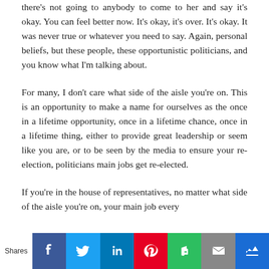there's not going to anybody to come to her and say it's okay. You can feel better now. It's okay, it's over. It's okay. It was never true or whatever you need to say. Again, personal beliefs, but these people, these opportunistic politicians, and you know what I'm talking about.
For many, I don't care what side of the aisle you're on. This is an opportunity to make a name for ourselves as the once in a lifetime opportunity, once in a lifetime chance, once in a lifetime thing, either to provide great leadership or seem like you are, or to be seen by the media to ensure your re-election, politicians main jobs get re-elected.
If you're in the house of representatives, no matter what side of the aisle you're on, your main job every
Shares [social share buttons: Facebook, Twitter, LinkedIn, Pinterest, Evernote, Email, Crown]